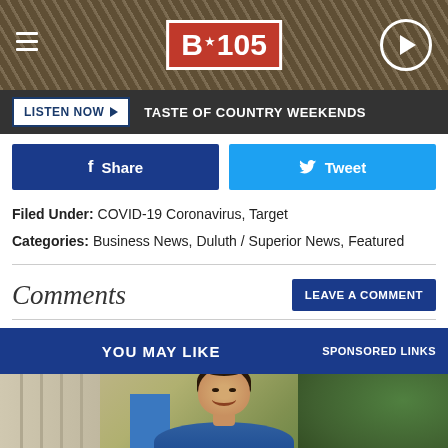[Figure (screenshot): B105 radio station website header banner with hamburger menu, B105 logo in red box, and play button]
[Figure (screenshot): Listen Now button bar with dark background and 'TASTE OF COUNTRY WEEKENDS' text]
[Figure (screenshot): Facebook Share button (navy blue) and Twitter Tweet button (light blue)]
Filed Under: COVID-19 Coronavirus, Target
Categories: Business News, Duluth / Superior News, Featured
Comments
[Figure (screenshot): LEAVE A COMMENT button in navy blue]
[Figure (screenshot): YOU MAY LIKE bar with SPONSORED LINKS on navy blue background, with photo of smiling woman below]
[Figure (photo): Photo of smiling woman with dark hair in updo, wearing blue, outdoors with trees in background]